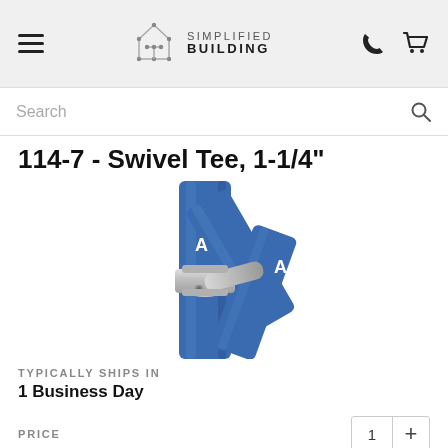Simplified Building
Search
114-7 - Swivel Tee, 1-1/4"
[Figure (photo): Photo of a Swivel Tee pipe fitting (model 114-7, 1-1/4 inch) showing a silver metallic swivel tee connector joining blue pipes labeled A. The tee fitting allows rotational adjustment.]
TYPICALLY SHIPS IN
1 Business Day
PRICE